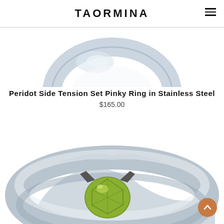TAORMINA
[Figure (photo): Top portion of a stainless steel tension set pinky ring with a silver band, partially cropped at top of page]
Peridot Side Tension Set Pinky Ring in Stainless Steel
$165.00
[Figure (photo): Close-up photo of a stainless steel tension set ring holding a round green peridot gemstone, shown from above at an angle. A round orange scroll-to-top button is visible in the lower right corner.]